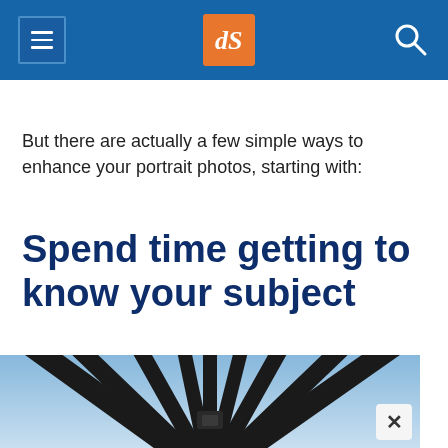dPS logo navigation header
But there are actually a few simple ways to enhance your portrait photos, starting with:
Spend time getting to know your subject
[Figure (photo): Photo showing dark architectural beams or structural elements radiating outward against a blue gradient sky, viewed from below.]